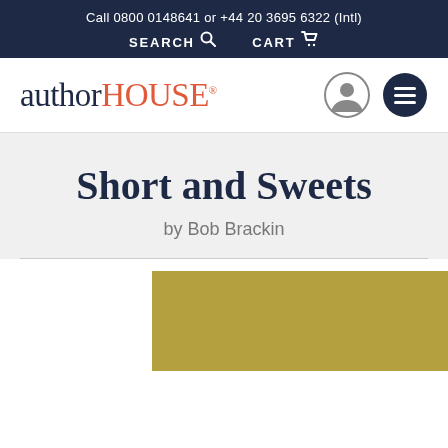Call 0800 0148641 or +44 20 3695 6322 (Intl)
SEARCH  CART
[Figure (logo): authorHOUSE logo with registered trademark symbol]
Short and Sweets
by Bob Brackin
[Figure (photo): Book cover image with gold/olive colored background]